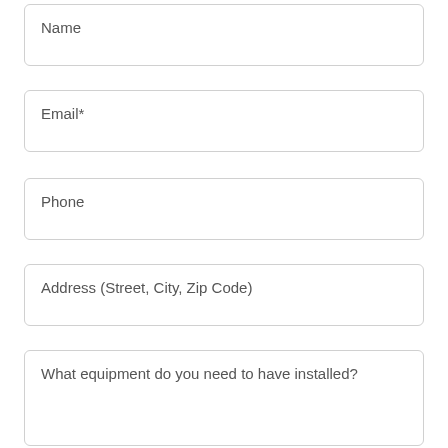Name
Email*
Phone
Address (Street, City, Zip Code)
What equipment do you need to have installed?